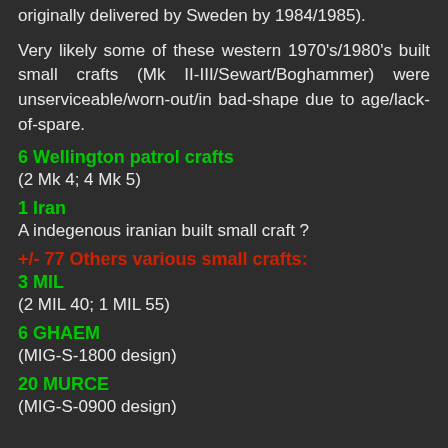originally delivered by Sweden by 1984/1985).
Very likely some of these western 1970's/1980's built small crafts (Mk II-III/Sewart/Boghammer) were unserviceable/worn-out/in bad-shape due to age/lack-of-spare.
6 Wellington patrol crafts
(2 Mk 4; 4 Mk 5)
1 Iran
A indegenous iranian built small craft ?
+/- 77 Others various small crafts:
3 MIL
(2 MIL 40; 1 MIL 55)
6 GHAEM
(MIG-S-1800 design)
20 MURCE
(MIG-S-0900 design)